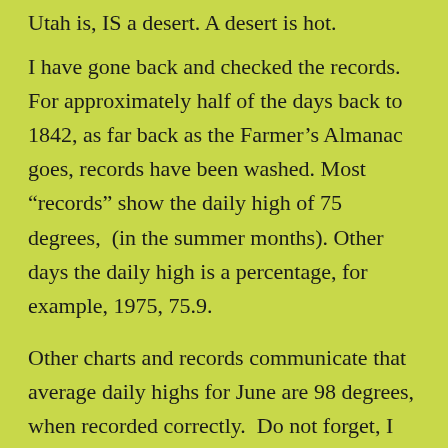Utah is, IS a desert. A desert is hot.
I have gone back and checked the records. For approximately half of the days back to 1842, as far back as the Farmer's Almanac goes, records have been washed. Most “records” show the daily high of 75 degrees,  (in the summer months). Other days the daily high is a percentage, for example, 1975, 75.9.
Other charts and records communicate that average daily highs for June are 98 degrees, when recorded correctly.  Do not forget, I challenge the temperatures recorded in these last few moths. Days the recorded high was “approaching” 100 degrees or record highs, the temperatures remained in the low 90s.
Look at my posts in June 2021.